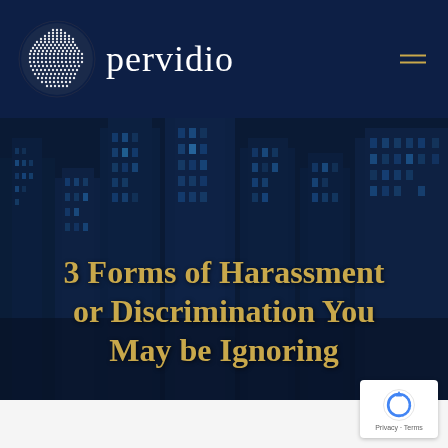pervidio
[Figure (photo): Dark blue-tinted cityscape/skyline photo with tall skyscrapers at night, used as hero background image]
3 Forms of Harassment or Discrimination You May be Ignoring